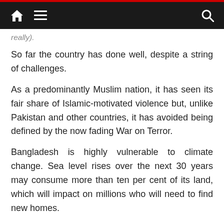[navigation bar with home, menu, and search icons]
really).
So far the country has done well, despite a string of challenges.
As a predominantly Muslim nation, it has seen its fair share of Islamic-motivated violence but, unlike Pakistan and other countries, it has avoided being defined by the now fading War on Terror.
Bangladesh is highly vulnerable to climate change. Sea level rises over the next 30 years may consume more than ten per cent of its land, which will impact on millions who will need to find new homes.
It has also been buffeted by the crisis of refugees from Myanmar and is giving sanctuary to some 800,000 Rohingyas. Despite predictable tensions,